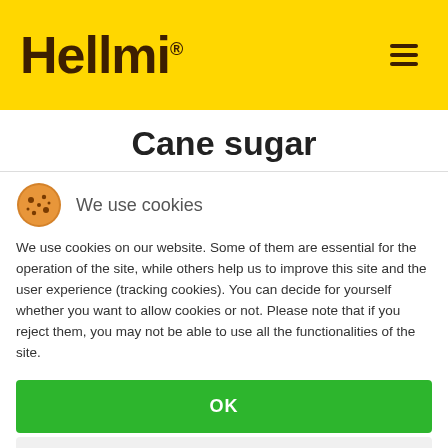Hellmi®
Cane sugar
We use cookies
We use cookies on our website. Some of them are essential for the operation of the site, while others help us to improve this site and the user experience (tracking cookies). You can decide for yourself whether you want to allow cookies or not. Please note that if you reject them, you may not be able to use all the functionalities of the site.
OK
DECLINE
More information